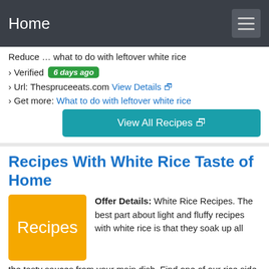Home
Reduce … what to do with leftover white rice
› Verified 6 days ago
› Url: Thespruceeats.com View Details
› Get more: What to do with leftover white rice
View All Recipes
Recipes With White Rice Taste of Home
[Figure (illustration): Orange/yellow box with white text 'Recipes']
Offer Details: White Rice Recipes. The best part about light and fluffy recipes with white rice is that they soak up all the tasty sauces from your main dish. Find one of our rice side dish recipes to pair with any meal you have planned. Add Filter. perfect white rice